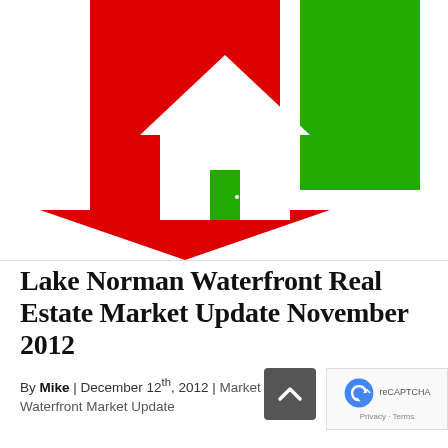[Figure (illustration): Graphic showing a white house silhouette centered, with a large red downward arrow on the left and a green upward arrow/rectangle on the right, symbolizing real estate market up/down trends.]
Lake Norman Waterfront Real Estate Market Update November 2012
By Mike | December 12th, 2012 | Market Update, Waterfront Market Update